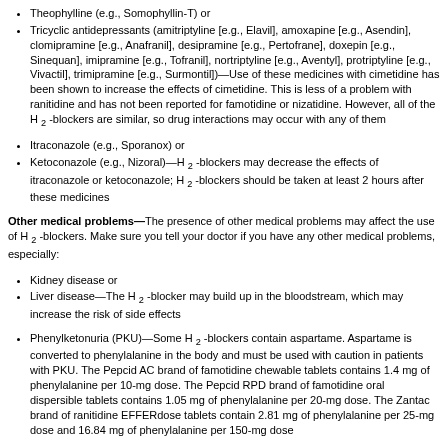Theophylline (e.g., Somophyllin-T) or
Tricyclic antidepressants (amitriptyline [e.g., Elavil], amoxapine [e.g., Asendin], clomipramine [e.g., Anafranil], desipramine [e.g., Pertofrane], doxepin [e.g., Sinequan], imipramine [e.g., Tofranil], nortriptyline [e.g., Aventyl], protriptyline [e.g., Vivactil], trimipramine [e.g., Surmontil])—Use of these medicines with cimetidine has been shown to increase the effects of cimetidine. This is less of a problem with ranitidine and has not been reported for famotidine or nizatidine. However, all of the H 2 -blockers are similar, so drug interactions may occur with any of them
Itraconazole (e.g., Sporanox) or
Ketoconazole (e.g., Nizoral)—H 2 -blockers may decrease the effects of itraconazole or ketoconazole; H 2 -blockers should be taken at least 2 hours after these medicines
Other medical problems—The presence of other medical problems may affect the use of H 2 -blockers. Make sure you tell your doctor if you have any other medical problems, especially:
Kidney disease or
Liver disease—The H 2 -blocker may build up in the bloodstream, which may increase the risk of side effects
Phenylketonuria (PKU)—Some H 2 -blockers contain aspartame. Aspartame is converted to phenylalanine in the body and must be used with caution in patients with PKU. The Pepcid AC brand of famotidine chewable tablets contains 1.4 mg of phenylalanine per 10-mg dose. The Pepcid RPD brand of famotidine oral dispersible tablets contains 1.05 mg of phenylalanine per 20-mg dose. The Zantac brand of ranitidine EFFERdose tablets contain 2.81 mg of phenylalanine per 25-mg dose and 16.84 mg of phenylalanine per 150-mg dose